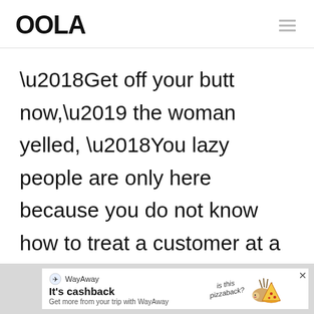OOLA
‘Get off your butt now,’ the woman yelled, ‘You lazy people are only here because you do not know how to treat a customer at a real business,’ and she just kept going on about this.
[Figure (infographic): WayAway advertisement banner: logo, 'It’s cashback' heading, 'Get more from your trip with WayAway' subtext, illustration of hedgehog with pizza and 'is this pizzaback?' text, close X button]